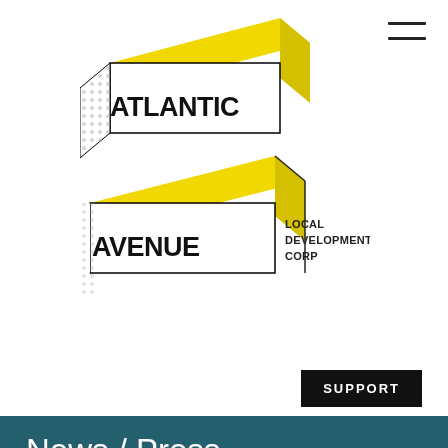[Figure (logo): Atlantic Avenue Local Development Corp logo — two angled yellow-topped 3D rectangular blocks spelling ATLANTIC and AVENUE in bold black text, with dotted/checkered side panels, and LOCAL DEVELOPMENT CORP text to the right]
News / Press
Second Annual Arts Gowanus ArtWalk Turns Atlantic Avenue into NYC's Largest Public Art Gallery
Starting June 19th...